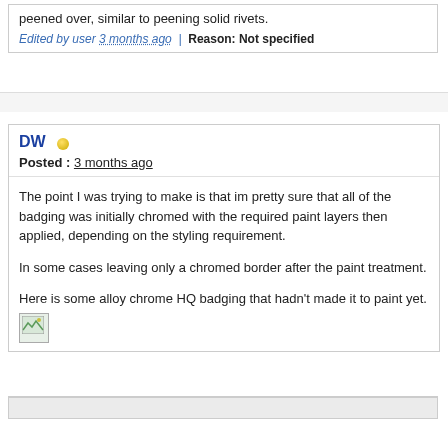peened over, similar to peening solid rivets.
Edited by user 3 months ago | Reason: Not specified
DW
Posted : 3 months ago
The point I was trying to make is that im pretty sure that all of the badging was initially chromed with the required paint layers then applied, depending on the styling requirement.
In some cases leaving only a chromed border after the paint treatment.
Here is some alloy chrome HQ badging that hadn't made it to paint yet.
[Figure (photo): Broken/missing image placeholder icon]